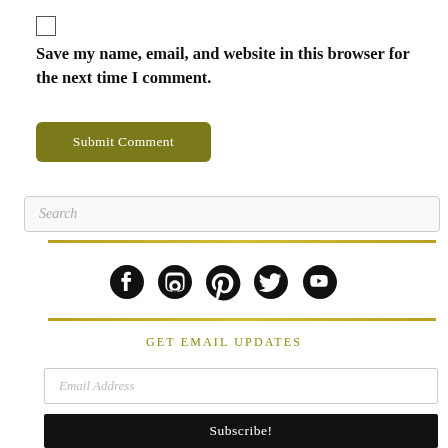Save my name, email, and website in this browser for the next time I comment.
Submit Comment
Search
[Figure (infographic): Social media icons: Facebook, Instagram, Pinterest, Twitter, YouTube]
GET EMAIL UPDATES
Email Address
Subscribe!